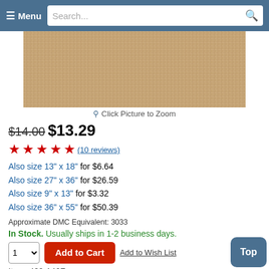Menu | Search...
[Figure (photo): Close-up of tan/beige Aida cross-stitch fabric with visible grid weave pattern]
Click Picture to Zoom
$14.00 $13.29
★★★★★ (10 reviews)
Also size 13" x 18" for $6.64
Also size 27" x 36" for $26.59
Also size 9" x 13" for $3.32
Also size 36" x 55" for $50.39
Approximate DMC Equivalent: 3033
In Stock. Usually ships in 1-2 business days.
1 [dropdown] Add to Cart | Add to Wish List
Item: 429-146Z